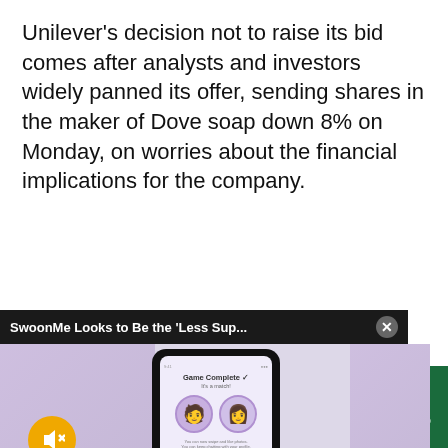Unilever's decision not to raise its bid comes after analysts and investors widely panned its offer, sending shares in the maker of Dove soap down 8% on Monday, on worries about the financial implications for the company.
[Figure (screenshot): Ad overlay for SwoonMe app showing title bar 'SwoonMe Looks to Be the Less Sup...' with close button, and phone mockup displaying a dating app screen with avatars and a mute button]
ategy told Reuters zer would open Alan Jope if the to improve its bid to
Sections  NY Edition  Philly  Games  Advertise  Sign Up